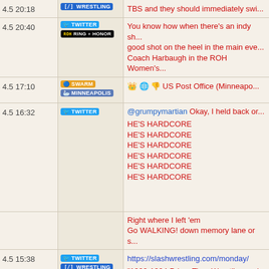4.5 20:18 | Twitter, Wrestling | TBS and they should immediately swi...
4.5 20:40 | Twitter, ROH Ring of Honor | You know how when there's an indy sh... good shot on the heel in the main eve... Coach Harbaugh in the ROH Women's...
4.5 17:10 | Swarm, Minneapolis | 👑 🌐 👎 US Post Office (Minneapo...
4.5 16:32 | Twitter | @grumpymartian Okay, I held back or...
HE'S HARDCORE
HE'S HARDCORE
HE'S HARDCORE
HE'S HARDCORE
HE'S HARDCORE
HE'S HARDCORE
Right where I left 'em
Go WALKING! down memory lane or s...
4.5 15:38 | Twitter, Wrestling | https://slashwrestling.com/monday/
"1992-1994 Prime Time Wrestling and...
Shit he even reviews WXO TV (and if y... https://slashwrestling.com/monday/wx...
4.5 15:00 | $NLOK | NLOK closing quote: 25.04 ▲0.01 (Ra...